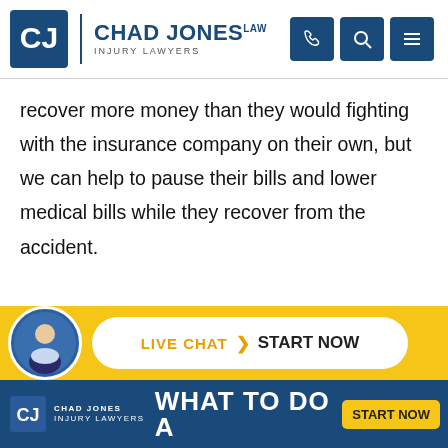Chad Jones Law - Injury Lawyers
recover more money than they would fighting with the insurance company on their own, but we can help to pause their bills and lower medical bills while they recover from the accident.

If you have any questions at all, our team is here to help you and stand up for your rights. Call or text us anytime.
[Figure (screenshot): Live chat bar with attorney avatar, yellow background, and white pill-shaped button reading 'LIVE CHAT > START NOW']
[Figure (screenshot): Bottom banner in blue with Chad Jones Law Injury Lawyers logo and 'START NOW' yellow button, with partial 'WHAT TO DO A...' text]